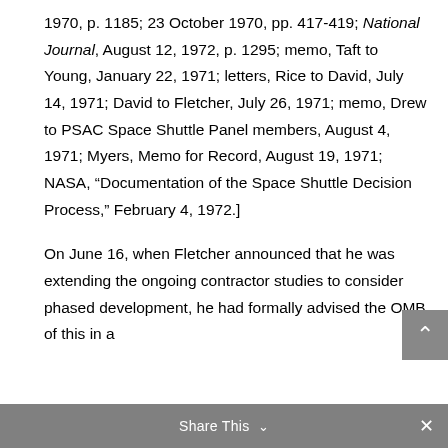1970, p. 1185; 23 October 1970, pp. 417-419; National Journal, August 12, 1972, p. 1295; memo, Taft to Young, January 22, 1971; letters, Rice to David, July 14, 1971; David to Fletcher, July 26, 1971; memo, Drew to PSAC Space Shuttle Panel members, August 4, 1971; Myers, Memo for Record, August 19, 1971; NASA, “Documentation of the Space Shuttle Decision Process,” February 4, 1972.]
On June 16, when Fletcher announced that he was extending the ongoing contractor studies to consider phased development, he had formally advised the OMB of this in a